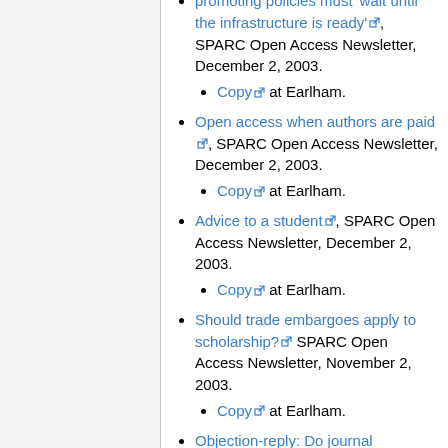promoting policies must 'wait until the infrastructure is ready', SPARC Open Access Newsletter, December 2, 2003.
Copy at Earlham.
Open access when authors are paid, SPARC Open Access Newsletter, December 2, 2003.
Copy at Earlham.
Advice to a student, SPARC Open Access Newsletter, December 2, 2003.
Copy at Earlham.
Should trade embargoes apply to scholarship? SPARC Open Access Newsletter, November 2, 2003.
Copy at Earlham.
Objection-reply: Do journal...